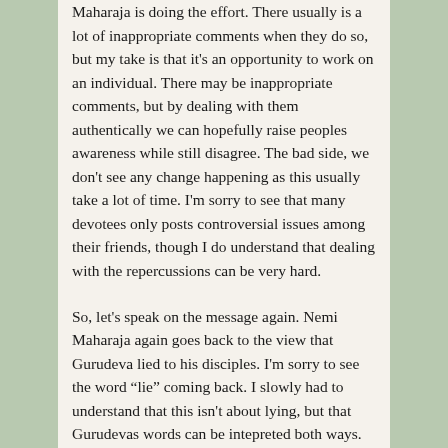Maharaja is doing the effort. There usually is a lot of inappropriate comments when they do so, but my take is that it's an opportunity to work on an individual. There may be inappropriate comments, but by dealing with them authentically we can hopefully raise peoples awareness while still disagree. The bad side, we don't see any change happening as this usually take a lot of time. I'm sorry to see that many devotees only posts controversial issues among their friends, though I do understand that dealing with the repercussions can be very hard.
So, let's speak on the message again. Nemi Maharaja again goes back to the view that Gurudeva lied to his disciples. I'm sorry to see the word “lie” coming back. I slowly had to understand that this isn't about lying, but that Gurudevas words can be intepreted both ways. Gurudeva speaks in a hidden way. So can we please instead use something other word than lying? For example, I used to refer to this debate as a “controversy” and “conflict”. I have moved away from those words and instead use “debate” and “discussion”. I saw how these words increase the division and conflict, and therefore I